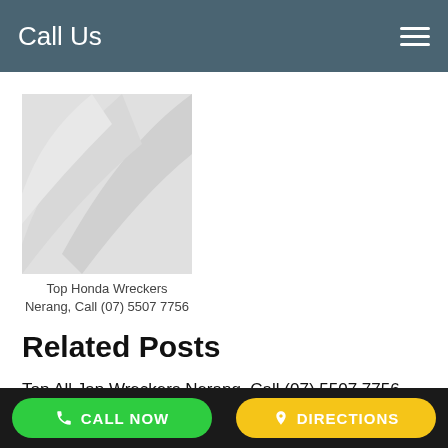Call Us
[Figure (photo): Placeholder image with grey swoosh pattern]
Top Honda Wreckers Nerang, Call (07) 5507 7756
Related Posts
Top All Jap Wreckers Nerang, Call (07) 5507 7756
CALL NOW   DIRECTIONS